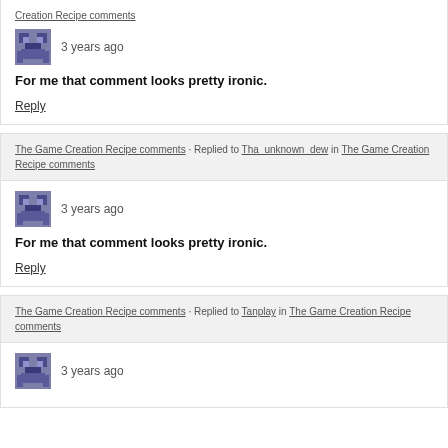Creation Recipe comments (partial top, link)
3 years ago
For me that comment looks pretty ironic.
Reply
The Game Creation Recipe comments · Replied to Tha_unknown_dew in The Game Creation Recipe comments
3 years ago
For me that comment looks pretty ironic.
Reply
The Game Creation Recipe comments · Replied to Tanplay in The Game Creation Recipe comments
3 years ago